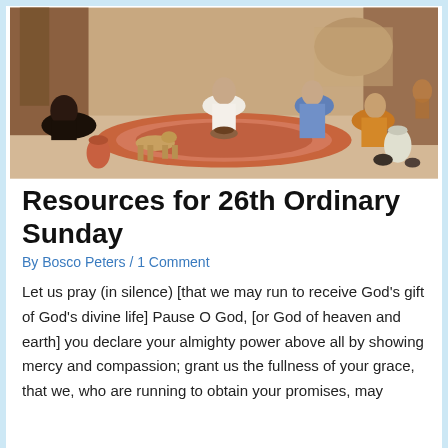[Figure (illustration): A painting depicting a group of African people gathered together in an outdoor village setting, sitting on colorful rugs and mats. Several figures in traditional clothing are shown, with pottery, a dog, and trees in the background. The scene has warm earthy tones.]
Resources for 26th Ordinary Sunday
By Bosco Peters / 1 Comment
Let us pray (in silence) [that we may run to receive God’s gift of God’s divine life] Pause O God, [or God of heaven and earth] you declare your almighty power above all by showing mercy and compassion; grant us the fullness of your grace, that we, who are running to obtain your promises, may